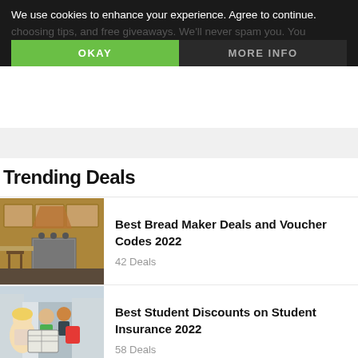We use cookies to enhance your experience. Agree to continue.
choosing tips, and free giveaways. We'll never spam you. You
OKAY
MORE INFO
Trending Deals
[Figure (photo): Kitchen with wooden cabinets, stainless steel appliances and dining chair]
Best Bread Maker Deals and Voucher Codes 2022
42 Deals
[Figure (photo): Group of young students looking at a map outdoors in a city]
Best Student Discounts on Student Insurance 2022
58 Deals
[Figure (photo): Wireless headphones close-up with yellow and black tones]
Best Wireless Headphone Deals and